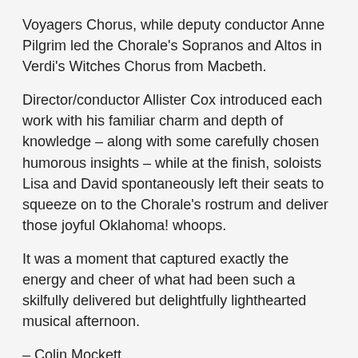Voyagers Chorus, while deputy conductor Anne Pilgrim led the Chorale's Sopranos and Altos in Verdi's Witches Chorus from Macbeth.
Director/conductor Allister Cox introduced each work with his familiar charm and depth of knowledge – along with some carefully chosen humorous insights – while at the finish, soloists Lisa and David spontaneously left their seats to squeeze on to the Chorale's rostrum and deliver those joyful Oklahoma! whoops.
It was a moment that captured exactly the energy and cheer of what had been such a skilfully delivered but delightfully lighthearted musical afternoon.
– Colin Mockett
https://entertainmentgeelong.com/reviews-2019-1
Great Moments: The Geelong Chorale – Sunday, 18th August, 2019